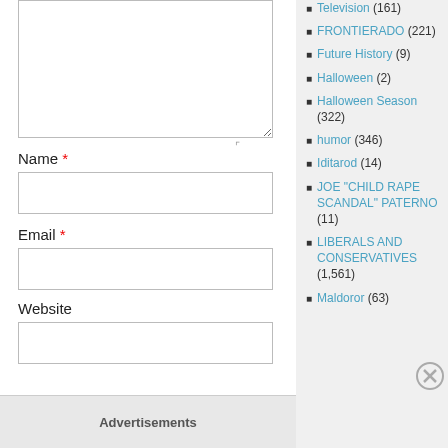[comment textarea]
Name *
[name input field]
Email *
[email input field]
Website
[website input field]
Advertisements
Television (161)
FRONTIERADO (221)
Future History (9)
Halloween (2)
Halloween Season (322)
humor (346)
Iditarod (14)
JOE "CHILD RAPE SCANDAL" PATERNO (11)
LIBERALS AND CONSERVATIVES (1,561)
Maldoror (63)